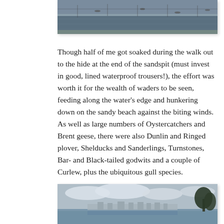[Figure (photo): A coastal or waterside scene, partially visible at the top of the page, showing water and distant landscape with birds.]
Though half of me got soaked during the walk out to the hide at the end of the sandspit (must invest in good, lined waterproof trousers!), the effort was worth it for the wealth of waders to be seen, feeding along the water's edge and hunkering down on the sandy beach against the biting winds. As well as large numbers of Oystercatchers and Brent geese, there were also Dunlin and Ringed plover, Shelducks and Sanderlings, Turnstones, Bar- and Black-tailed godwits and a couple of Curlew, plus the ubiquitous gull species.
[Figure (photo): A coastal landscape photograph showing water in the foreground, buildings and structures in the distance, cloudy sky, and a tree on the right side.]